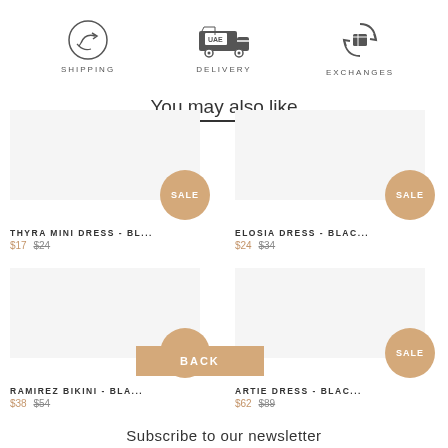[Figure (infographic): Three icons in a row: Shipping (hand with plane), Delivery (UAE truck), Exchanges (box with arrows)]
You may also like
[Figure (infographic): Product card: THYRA MINI DRESS - BL... Sale badge, price $17, original $24]
[Figure (infographic): Product card: ELOSIA DRESS - BLAC... Sale badge, price $24, original $34]
[Figure (infographic): Product card: RAMIREZ BIKINI - BLA... Sale badge, price $38, original $54]
[Figure (infographic): Product card: ARTIE DRESS - BLAC... Sale badge, price $62, original $89]
BACK
Subscribe to our newsletter